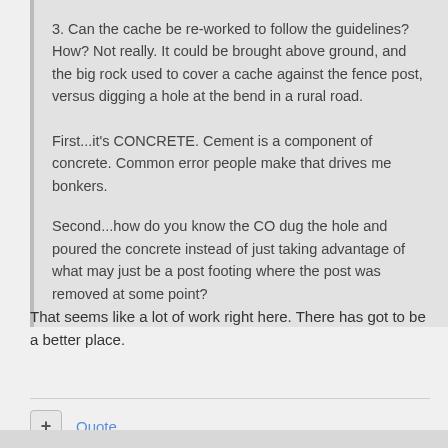3. Can the cache be re-worked to follow the guidelines? How? Not really. It could be brought above ground, and the big rock used to cover a cache against the fence post, versus digging a hole at the bend in a rural road.
First...it's CONCRETE. Cement is a component of concrete. Common error people make that drives me bonkers.
Second...how do you know the CO dug the hole and poured the concrete instead of just taking advantage of what may just be a post footing where the post was removed at some point?
That seems like a lot of work right here. There has got to be a better place.